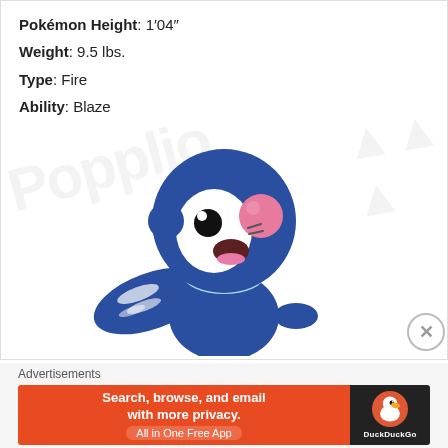Pokémon Height: 1′04″
Weight: 9.5 lbs.
Type: Fire
Ability: Blaze
[Figure (illustration): Popplio Pokémon character illustration — a blue seal-like creature with a white facial area, large eye, pink clown nose, light blue bow-tie/collar, and flipper hands. Background has faint watermark text.]
Advertisements
[Figure (screenshot): DuckDuckGo advertisement banner: orange left section with text 'Search, browse, and email with more privacy. All in One Free App'; dark right section with DuckDuckGo duck logo and DuckDuckGo text.]